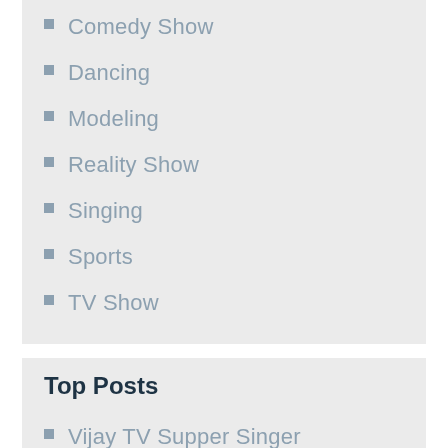Comedy Show
Dancing
Modeling
Reality Show
Singing
Sports
TV Show
Top Posts
Vijay TV Supper Singer
Colors Kannada Super Minute
Zee Bangla's Didi No 1
All Dancing Show